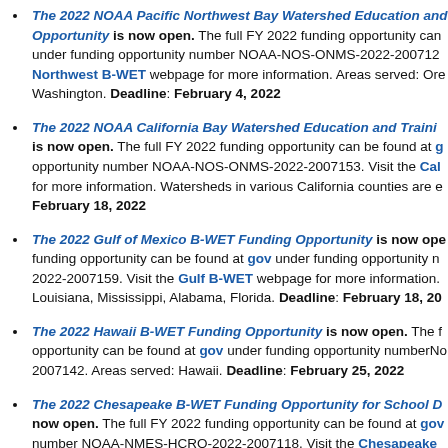The 2022 NOAA Pacific Northwest Bay Watershed Education and Training Opportunity is now open. The full FY 2022 funding opportunity can be found under funding opportunity number NOAA-NOS-ONMS-2022-2007125. Visit the Northwest B-WET webpage for more information. Areas served: Oregon, Washington. Deadline: February 4, 2022
The 2022 NOAA California Bay Watershed Education and Training is now open. The full FY 2022 funding opportunity can be found at grants.gov under funding opportunity number NOAA-NOS-ONMS-2022-2007153. Visit the California B-WET for more information. Watersheds in various California counties are eligible. Deadline: February 18, 2022
The 2022 Gulf of Mexico B-WET Funding Opportunity is now open. The full funding opportunity can be found at grants.gov under funding opportunity number NOAA-NOS-ONMS-2022-2007159. Visit the Gulf B-WET webpage for more information. Areas served: Louisiana, Mississippi, Alabama, Florida. Deadline: February 18, 2022
The 2022 Hawaii B-WET Funding Opportunity is now open. The full funding opportunity can be found at grants.gov under funding opportunity number NOAA-NOS-ONMS-2022-2007142. Areas served: Hawaii. Deadline: February 25, 2022
The 2022 Chesapeake B-WET Funding Opportunity for School Districts is now open. The full FY 2022 funding opportunity can be found at grants.gov under funding opportunity number NOAA-NMES-HCRO-2022-2007118. Visit the Chesapeake B-WET webpage for more information.